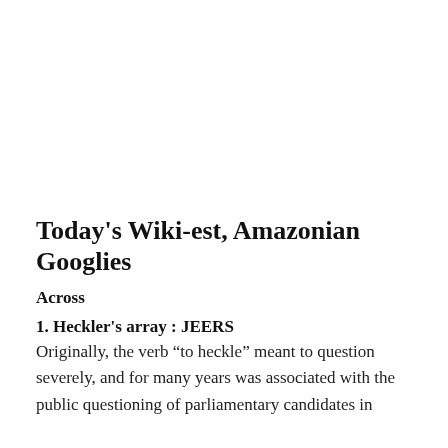Today's Wiki-est, Amazonian Googlies
Across
1. Heckler's array : JEERS
Originally, the verb “to heckle” meant to question severely, and for many years was associated with the public questioning of parliamentary candidates in